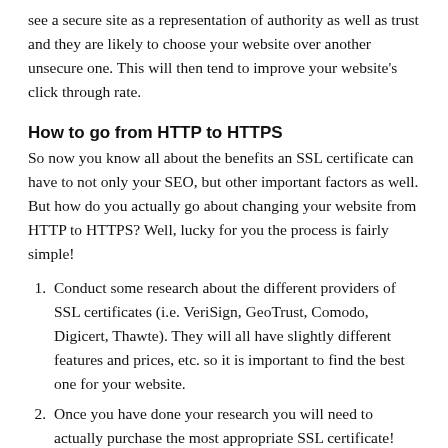see a secure site as a representation of authority as well as trust and they are likely to choose your website over another unsecure one. This will then tend to improve your website's click through rate.
How to go from HTTP to HTTPS
So now you know all about the benefits an SSL certificate can have to not only your SEO, but other important factors as well. But how do you actually go about changing your website from HTTP to HTTPS? Well, lucky for you the process is fairly simple!
Conduct some research about the different providers of SSL certificates (i.e. VeriSign, GeoTrust, Comodo, Digicert, Thawte). They will all have slightly different features and prices, etc. so it is important to find the best one for your website.
Once you have done your research you will need to actually purchase the most appropriate SSL certificate!
Then you are able to install the SSL certificate on to your website's hosting profile.